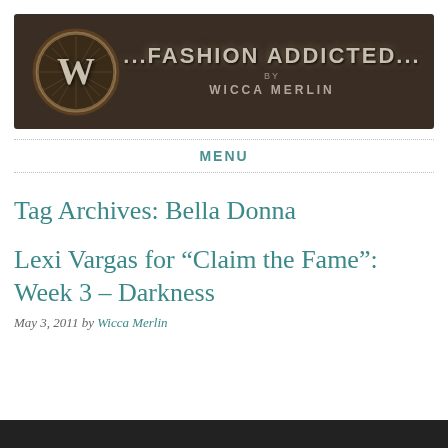[Figure (illustration): Blog header banner with dark brown wood-textured background. On the left is a circular logo with a decorative W letter. On the right, large text reads '...FASHION ADDICTED...' with 'BY' and 'WICCA MERLIN' below.]
MENU
Tag Archives: Bella Donna
Lexi Vargas for “Claim the Fame”: Week 3 – Darkness
May 3, 2011 by Wicca Merlin